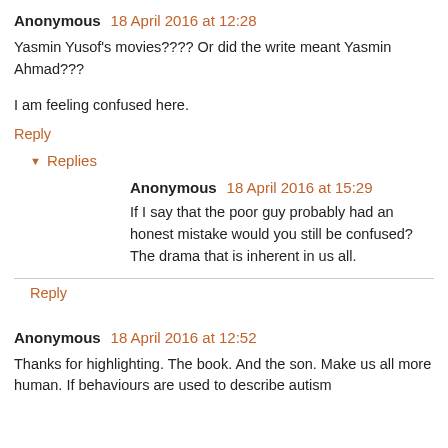Anonymous 18 April 2016 at 12:28
Yasmin Yusof's movies???? Or did the write meant Yasmin Ahmad???
I am feeling confused here.
Reply
Replies
Anonymous 18 April 2016 at 15:29
If I say that the poor guy probably had an honest mistake would you still be confused? The drama that is inherent in us all.
Reply
Anonymous 18 April 2016 at 12:52
Thanks for highlighting. The book. And the son. Make us all more human. If behaviours are used to describe autism